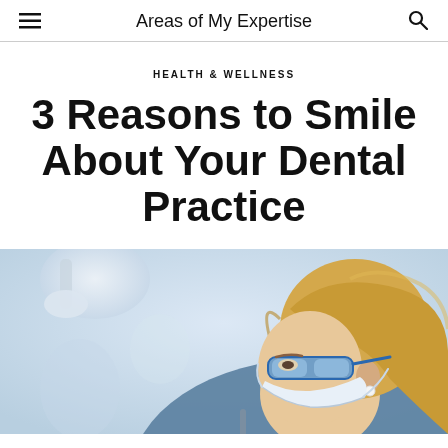Areas of My Expertise
HEALTH & WELLNESS
3 Reasons to Smile About Your Dental Practice
[Figure (photo): A female dental professional with blonde hair, wearing protective glasses and a blue surgical mask, leaning over to examine a patient in a bright dental office setting]